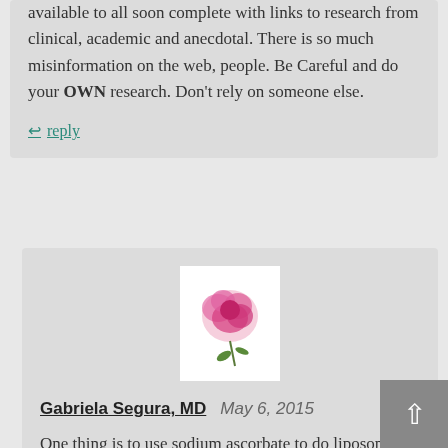available to all soon complete with links to research from clinical, academic and anecdotal. There is so much misinformation on the web, people. Be Careful and do your OWN research. Don't rely on someone else.
↩ reply
[Figure (photo): Avatar image showing a pink flower on a white background]
Gabriela Segura, MD   May 6, 2015
One thing is to use sodium ascorbate to do liposomes. Another thing is use titration done for ascorbic acid. The